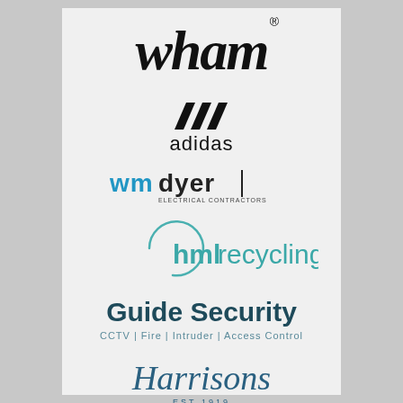[Figure (logo): Wham logo in bold italic script with registered trademark symbol]
[Figure (logo): Adidas logo with three-stripe mountain icon above the word adidas in sans-serif]
[Figure (logo): WM Dyer Electrical Contractors logo with stylized geometric WM and dyer in mixed fonts]
[Figure (logo): hml recycling logo with partial circle and teal/blue text]
[Figure (logo): Guide Security logo with dark teal bold sans-serif text and CCTV | Fire | Intruder | Access Control tagline]
[Figure (logo): Harrisons script logo with EST 1919 below in small caps]